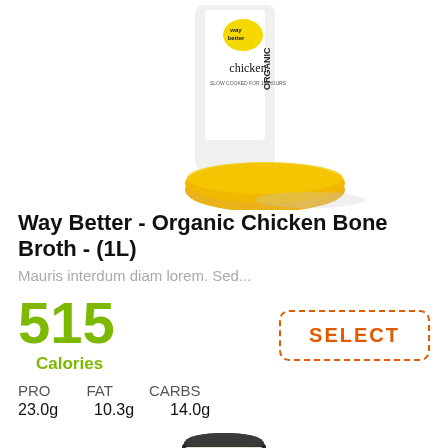[Figure (photo): Product photo of Way Better Organic Chicken Bone Broth 1L container with yellow bowl of broth at the bottom, partially cropped at top]
Way Better - Organic Chicken Bone Broth - (1L)
Mauris interdum diam lorem. Sed...
515 Calories
SELECT
PRO  FAT  CARBS
23.0g  10.3g  14.0g
[Figure (photo): Partial view of a jar product at the bottom of the page, only the lid and top portion visible]